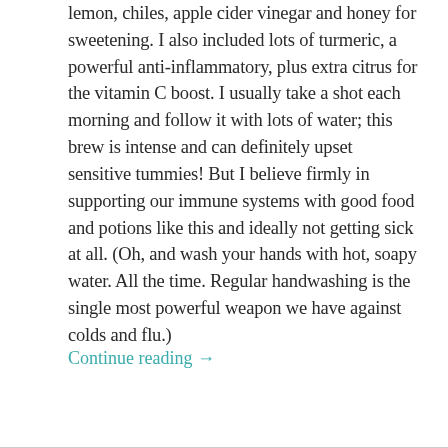lemon, chiles, apple cider vinegar and honey for sweetening. I also included lots of turmeric, a powerful anti-inflammatory, plus extra citrus for the vitamin C boost. I usually take a shot each morning and follow it with lots of water; this brew is intense and can definitely upset sensitive tummies! But I believe firmly in supporting our immune systems with good food and potions like this and ideally not getting sick at all. (Oh, and wash your hands with hot, soapy water. All the time. Regular handwashing is the single most powerful weapon we have against colds and flu.)
Continue reading →